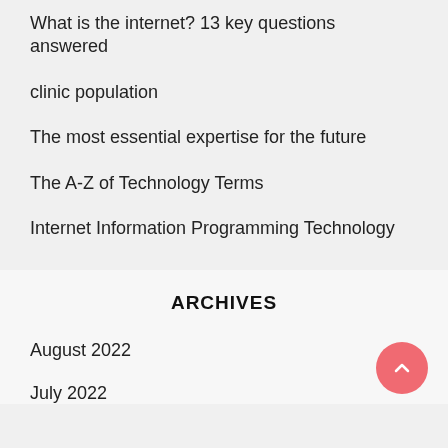What is the internet? 13 key questions answered
clinic population
The most essential expertise for the future
The A-Z of Technology Terms
Internet Information Programming Technology
ARCHIVES
August 2022
July 2022